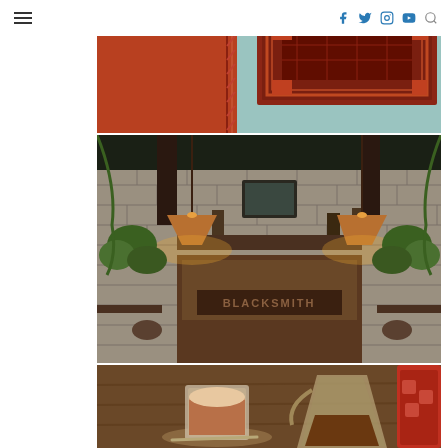Navigation header with hamburger menu and social icons (Facebook, Twitter, Instagram, YouTube, Search)
[Figure (photo): Top portion of a decorative rug or leather-bound item with red and brown tones, partially visible against a light blue-green background]
[Figure (photo): Interior of a cafe called Blacksmith, featuring stone brick walls, hanging triangular pendant lights, wooden shelving, and green plants]
[Figure (photo): Close-up of coffee drinks on a wooden table: a latte in a glass cup on a saucer, a glass pour-over carafe with coffee, and a red iced drink]